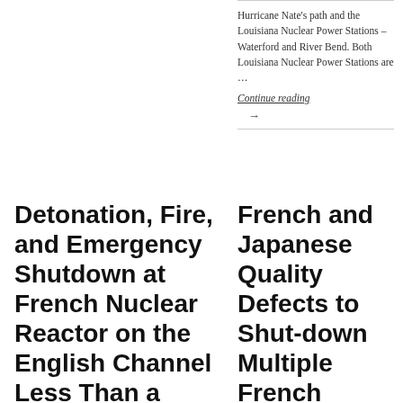Hurricane Nate's path and the Louisiana Nuclear Power Stations – Waterford and River Bend. Both Louisiana Nuclear Power Stations are …
Continue reading
→
Detonation, Fire, and Emergency Shutdown at French Nuclear Reactor on the English Channel Less Than a Month After
French and Japanese Quality Defects to Shut-down Multiple French Nuclear Reactors – Areva Le Creusot